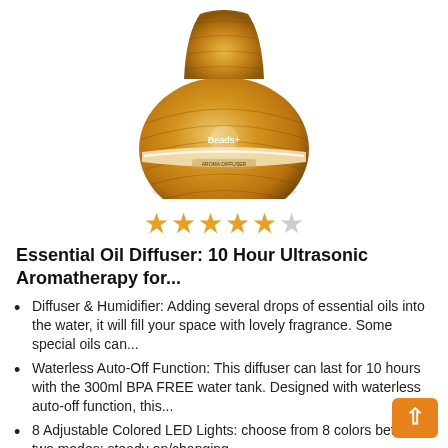[Figure (photo): Wood grain onion-shaped essential oil diffuser with a white/cream stripe near the base, on a white background.]
★★★★★ (4.5 stars rating)
Essential Oil Diffuser: 10 Hour Ultrasonic Aromatherapy for...
Diffuser & Humidifier: Adding several drops of essential oils into the water, it will fill your space with lovely fragrance. Some special oils can...
Waterless Auto-Off Function: This diffuser can last for 10 hours with the 300ml BPA FREE water tank. Designed with waterless auto-off function, this...
8 Adjustable Colored LED Lights: choose from 8 colors between two modes: steady on/changing